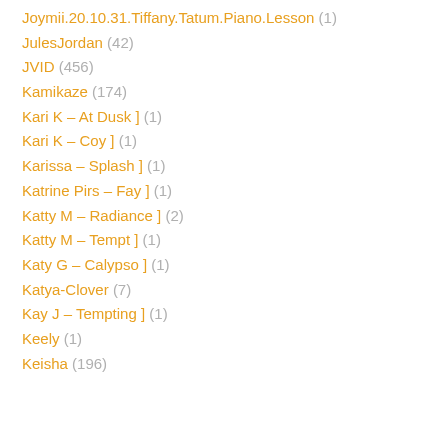Joymii.20.10.31.Tiffany.Tatum.Piano.Lesson (1)
JulesJordan (42)
JVID (456)
Kamikaze (174)
Kari K – At Dusk ] (1)
Kari K – Coy ] (1)
Karissa – Splash ] (1)
Katrine Pirs – Fay ] (1)
Katty M – Radiance ] (2)
Katty M – Tempt ] (1)
Katy G – Calypso ] (1)
Katya-Clover (7)
Kay J – Tempting ] (1)
Keely (1)
Keisha (196)